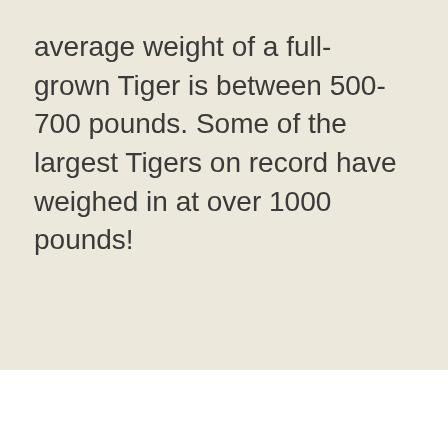average weight of a full-grown Tiger is between 500-700 pounds. Some of the largest Tigers on record have weighed in at over 1000 pounds!